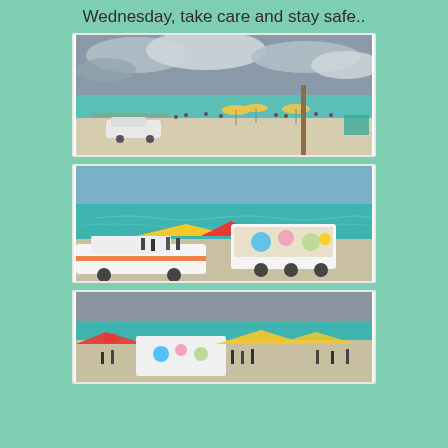Wednesday, take care and stay safe..
[Figure (photo): Beach scene with overcast sky, white sand, people, colorful umbrellas (yellow and red), a wooden pole, and a white vehicle on the beach]
[Figure (photo): Surf lifesaving scene with turquoise ocean, a white Surf Rescue truck, yellow and red canopy tents, and a decorated caravan/trailer on the beach]
[Figure (photo): Beach scene with grey sky, turquoise ocean, colorful market stalls/tents (red, yellow), a white trailer, and people on the sand]